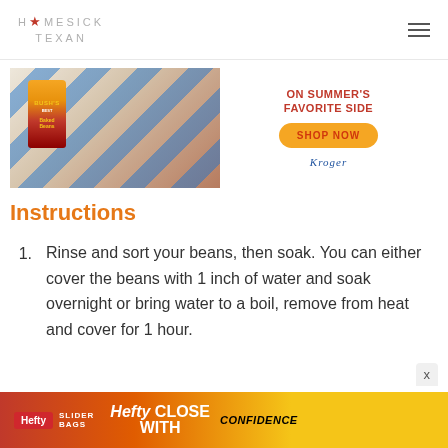HOMESICK TEXAN
[Figure (infographic): Bush's baked beans advertisement banner showing a can of Bush's beans, a pan of baked beans, and text 'ON SUMMER'S FAVORITE SIDE' with a yellow 'SHOP NOW' button and Kroger logo]
Instructions
Rinse and sort your beans, then soak. You can either cover the beans with 1 inch of water and soak overnight or bring water to a boil, remove from heat and cover for 1 hour.
[Figure (infographic): Hefty Slider advertisement banner at bottom of page with text 'CLOSE WITH CONFIDENCE']